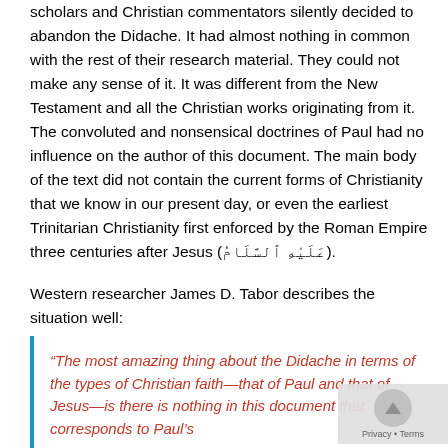scholars and Christian commentators silently decided to abandon the Didache. It had almost nothing in common with the rest of their research material. They could not make any sense of it. It was different from the New Testament and all the Christian works originating from it. The convoluted and nonsensical doctrines of Paul had no influence on the author of this document. The main body of the text did not contain the current forms of Christianity that we know in our present day, or even the earliest Trinitarian Christianity first enforced by the Roman Empire three centuries after Jesus (عَلَيْهِ ٱلسَّلَامُ).
Western researcher James D. Tabor describes the situation well:
“The most amazing thing about the Didache in terms of the types of Christian faith—that of Paul and that of Jesus—is there is nothing in this document that corresponds to Paul’s